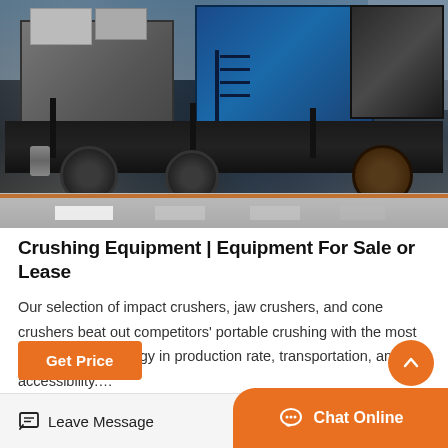[Figure (photo): Outdoor photo of heavy industrial crushing equipment — dark metal chassis/frame with large mechanical components, blue machinery in background, concrete ground with markings]
Crushing Equipment | Equipment For Sale or Lease
Our selection of impact crushers, jaw crushers, and cone crushers beat out competitors’ portable crushing with the most advanced technology in production rate, transportation, and accessibility....
Get Price
Leave Message
Chat Online